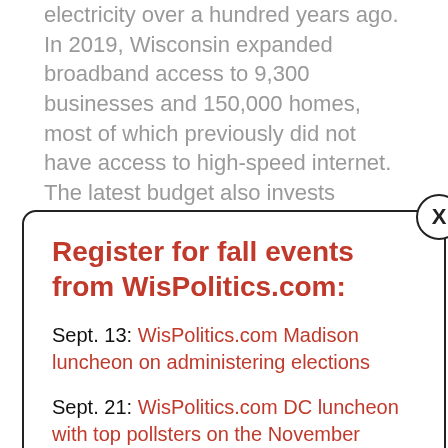electricity over a hundred years ago. In 2019, Wisconsin expanded broadband access to 9,300 businesses and 150,000 homes, most of which previously did not have access to high-speed internet. The latest budget also invests
Register for fall events from WisPolitics.com:
Sept. 13: WisPolitics.com Madison luncheon on administering elections
Sept. 21: WisPolitics.com DC luncheon with top pollsters on the November election
Sept. 29: Annual WisPolitics.com Midwest Polling Summit
Oct. 18: WisPolitics.com Madison luncheon on top legislative races
residents to finally receive high-speed fiber interne